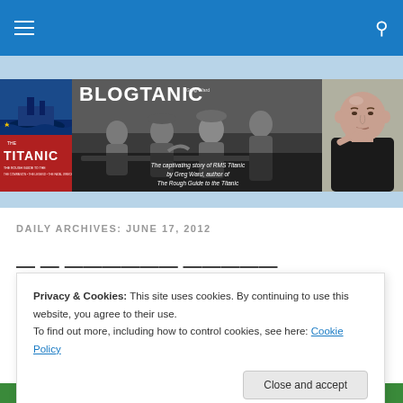[Figure (screenshot): Website screenshot of Blogtanic blog with navigation bar, banner image showing the Rough Guide to the Titanic book cover, black and white historical photo, Greg Ward author photo, and overlay text 'BLOGTANIC – The captivating story of RMS Titanic by Greg Ward, author of The Rough Guide to the Titanic']
DAILY ARCHIVES: JUNE 17, 2012
Privacy & Cookies: This site uses cookies. By continuing to use this website, you agree to their use.
To find out more, including how to control cookies, see here: Cookie Policy
Close and accept